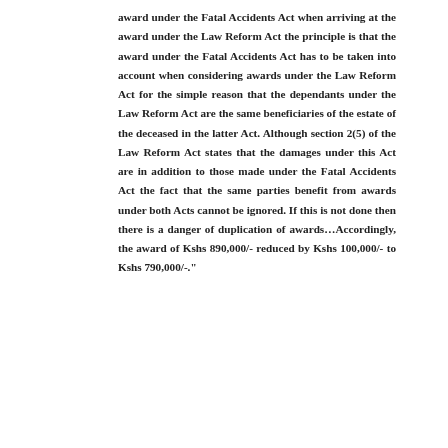award under the Fatal Accidents Act when arriving at the award under the Law Reform Act the principle is that the award under the Fatal Accidents Act has to be taken into account when considering awards under the Law Reform Act for the simple reason that the dependants under the Law Reform Act are the same beneficiaries of the estate of the deceased in the latter Act. Although section 2(5) of the Law Reform Act states that the damages under this Act are in addition to those made under the Fatal Accidents Act the fact that the same parties benefit from awards under both Acts cannot be ignored. If this is not done then there is a danger of duplication of awards…Accordingly, the award of Kshs 890,000/- reduced by Kshs 100,000/- to Kshs 790,000/-.